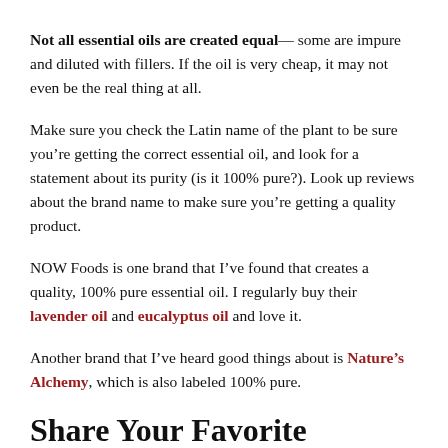Not all essential oils are created equal— some are impure and diluted with fillers. If the oil is very cheap, it may not even be the real thing at all.
Make sure you check the Latin name of the plant to be sure you’re getting the correct essential oil, and look for a statement about its purity (is it 100% pure?). Look up reviews about the brand name to make sure you’re getting a quality product.
NOW Foods is one brand that I’ve found that creates a quality, 100% pure essential oil. I regularly buy their lavender oil and eucalyptus oil and love it.
Another brand that I’ve heard good things about is Nature’s Alchemy, which is also labeled 100% pure.
Share Your Favorite Essential Oil